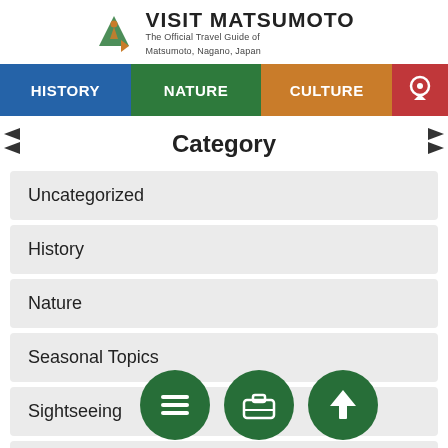[Figure (logo): Visit Matsumoto logo with mountain/person icon and site title]
VISIT MATSUMOTO - The Official Travel Guide of Matsumoto, Nagano, Japan
[Figure (screenshot): Navigation bar with HISTORY (blue), NATURE (green), CULTURE (orange), map pin icon (red)]
Category
Uncategorized
History
Nature
Seasonal Topics
Sightseeing
Outdoor Activities
[Figure (infographic): Three green circular FAB buttons: hamburger menu, briefcase/bag, and up arrow]